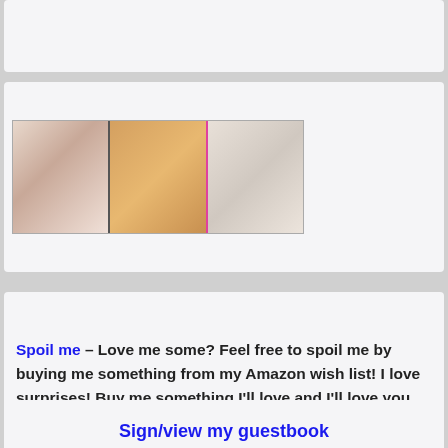[Figure (photo): Top card area with partial image visible at very top of page]
[Figure (photo): Strip of three adult content photos side by side in a card panel]
Spoil me – Love me some? Feel free to spoil me by buying me something from my Amazon wish list! I love surprises! Buy me something I'll love and I'll love you forever! *Kisses*
Sign/view my guestbook